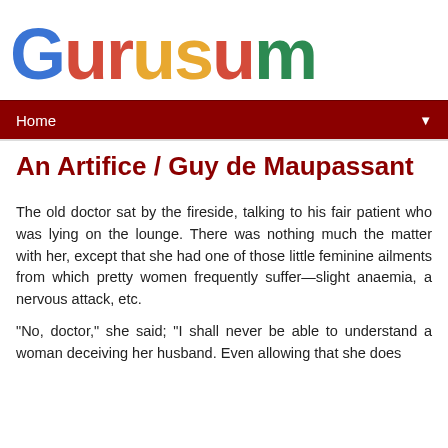[Figure (logo): Gurusum logo with colorful letters: G in blue, u in red, r in red, u in yellow, s in yellow, u in red, m in green and yellow]
Home ▼
An Artifice / Guy de Maupassant
The old doctor sat by the fireside, talking to his fair patient who was lying on the lounge. There was nothing much the matter with her, except that she had one of those little feminine ailments from which pretty women frequently suffer—slight anaemia, a nervous attack, etc.
"No, doctor," she said; "I shall never be able to understand a woman deceiving her husband. Even allowing that she does...